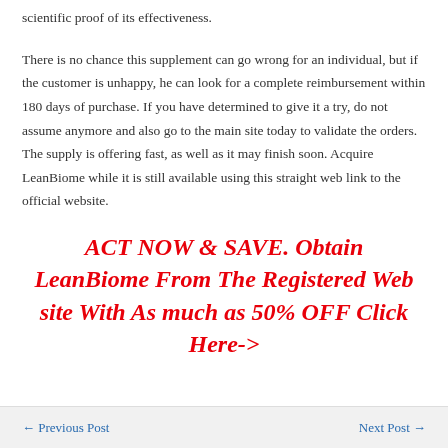scientific proof of its effectiveness.
There is no chance this supplement can go wrong for an individual, but if the customer is unhappy, he can look for a complete reimbursement within 180 days of purchase. If you have determined to give it a try, do not assume anymore and also go to the main site today to validate the orders. The supply is offering fast, as well as it may finish soon. Acquire LeanBiome while it is still available using this straight web link to the official website.
ACT NOW & SAVE. Obtain LeanBiome From The Registered Web site With As much as 50% OFF Click Here->
← Previous Post    Next Post →